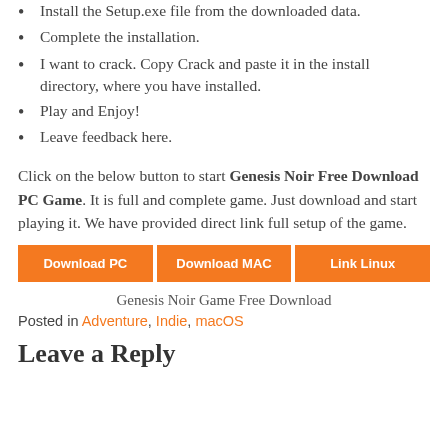Install the Setup.exe file from the downloaded data.
Complete the installation.
I want to crack. Copy Crack and paste it in the install directory, where you have installed.
Play and Enjoy!
Leave feedback here.
Click on the below button to start Genesis Noir Free Download PC Game. It is full and complete game. Just download and start playing it. We have provided direct link full setup of the game.
[Figure (other): Three orange download buttons labeled: Download PC, Download MAC, Link Linux]
Genesis Noir Game Free Download
Posted in Adventure, Indie, macOS
Leave a Reply